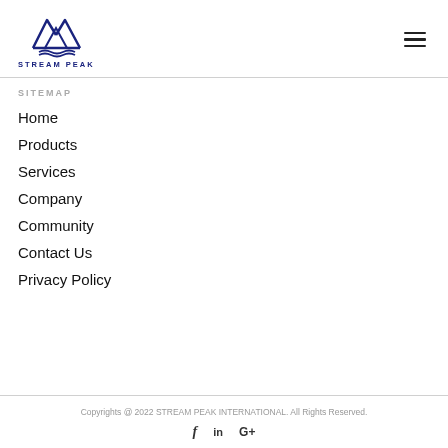[Figure (logo): Stream Peak International logo — blue mountain/triangle outline with wave at base, text STREAM PEAK below]
SITEMAP
Home
Products
Services
Company
Community
Contact Us
Privacy Policy
Copyrights @ 2022 STREAM PEAK INTERNATIONAL. All Rights Reserved.